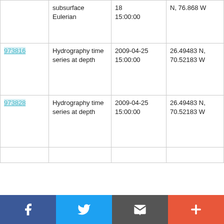| ID | Type | Date | Location | Platform |
| --- | --- | --- | --- | --- |
|  | subsurface Eulerian | 18 15:00:00 | N, 76.868 W | Ship Ronald H. Brown RB0901 |
| 973816 | Hydrography time series at depth | 2009-04-25 15:00:00 | 26.49483 N, 70.52183 W | NOAA Ship Ronald H. Brown RB0901 |
| 973828 | Hydrography time series at depth | 2009-04-25 15:00:00 | 26.49483 N, 70.52183 W | NOAA Ship Ronald H. Brown RB0901 |